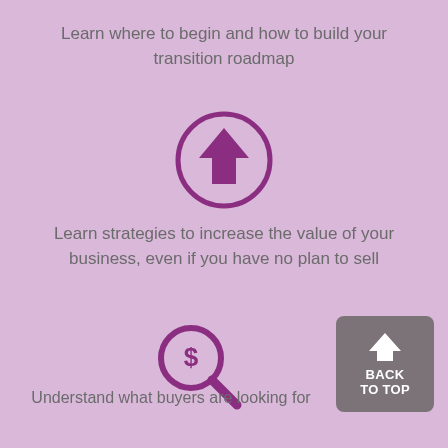Learn where to begin and how to build your transition roadmap
[Figure (illustration): Purple up-arrow icon inside a circle]
Learn strategies to increase the value of your business, even if you have no plan to sell
[Figure (illustration): Purple magnifying glass with dollar sign icon]
Understand what buyers are looking for
[Figure (illustration): BACK TO TOP button with upward arrow, grey background]